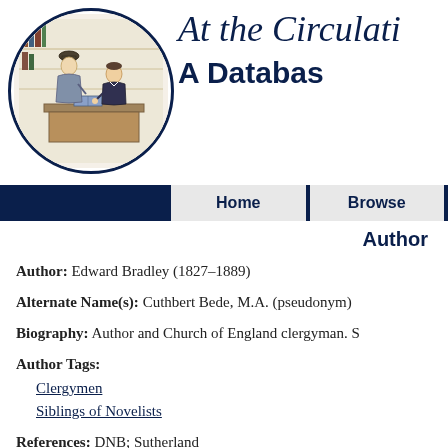[Figure (illustration): Circular logo illustration showing two Victorian-era figures at a desk or counter, one seated and one standing, in a library or circulation desk setting. Enclosed in a dark navy circle border.]
At the Circulati
A Databas
Home   Browse
Author
Author: Edward Bradley (1827–1889)
Alternate Name(s): Cuthbert Bede, M.A. (pseudonym)
Biography: Author and Church of England clergyman. S
Author Tags:
   Clergymen
   Siblings of Novelists
References: DNB; Sutherland